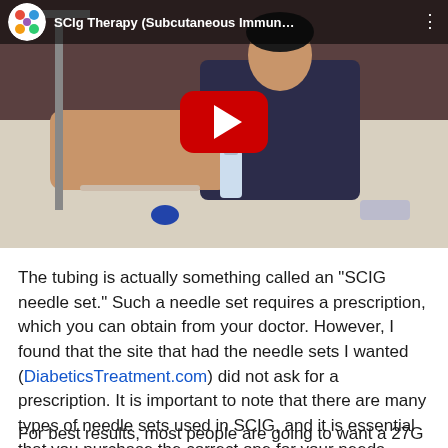[Figure (screenshot): YouTube video thumbnail showing a person sitting in a hospital bed handling medical supplies. The video title reads 'SCIg Therapy (Subcutaneous Immun...' with a YouTube play button overlay.]
The tubing is actually something called an "SCIG needle set." Such a needle set requires a prescription, which you can obtain from your doctor. However, I found that the site that had the needle sets I wanted (DiabeticsTreatment.com) did not ask for a prescription. It is important to note that there are many types of needle sets used in SCIG, and it is essential that you purchase the correct one for your needs.
For best results, most people are going to want a 27G x 9mm